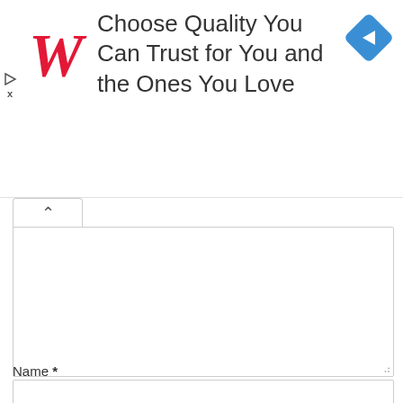[Figure (illustration): Walgreens advertisement banner: Walgreens red cursive W logo on left, text 'Choose Quality You Can Trust for You and the Ones You Love' in the center, blue diamond navigation icon on the right. Ad controls (play and X) on far left.]
Name *
Email *